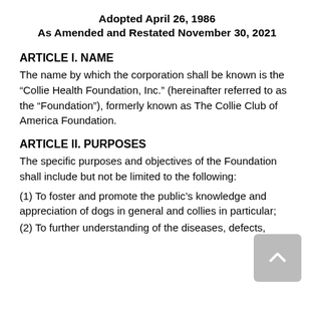Adopted April 26, 1986
As Amended and Restated November 30, 2021
ARTICLE I. NAME
The name by which the corporation shall be known is the “Collie Health Foundation, Inc.” (hereinafter referred to as the “Foundation”), formerly known as The Collie Club of America Foundation.
ARTICLE II. PURPOSES
The specific purposes and objectives of the Foundation shall include but not be limited to the following:
(1) To foster and promote the public’s knowledge and appreciation of dogs in general and collies in particular;
(2) To further understanding of the diseases, defects,